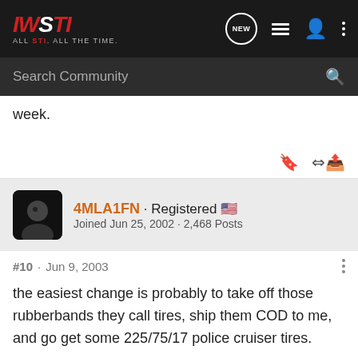IWSTI · ALL STI. ALL THE TIME.
week.
4MLA1FN · Registered 🇺🇸
Joined Jun 25, 2002 · 2,468 Posts
#10 · Jun 9, 2003
the easiest change is probably to take off those rubberbands they call tires, ship them COD to me, and go get some 225/75/17 police cruiser tires.